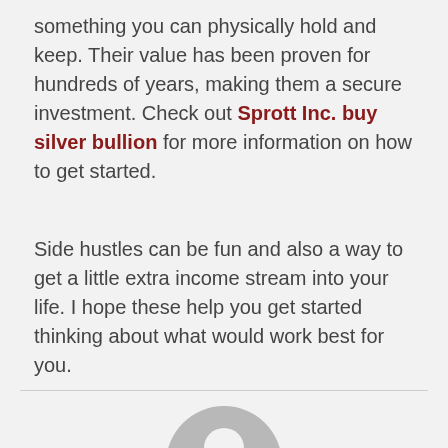something you can physically hold and keep. Their value has been proven for hundreds of years, making them a secure investment. Check out Sprott Inc. buy silver bullion for more information on how to get started.
Side hustles can be fun and also a way to get a little extra income stream into your life. I hope these help you get started thinking about what would work best for you.
[Figure (illustration): Generic user avatar icon — a gray circle with a white silhouette of a person (head and shoulders)]
LAURA